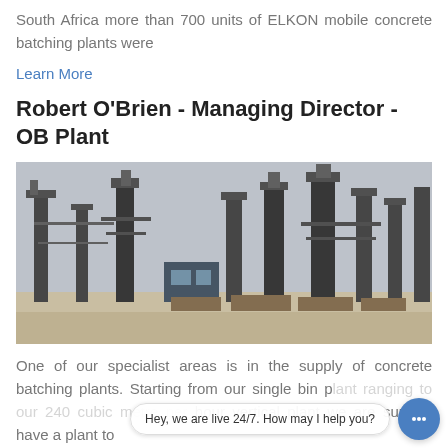South Africa more than 700 units of ELKON mobile concrete batching plants were
Learn More
Robert O'Brien - Managing Director - OB Plant
[Figure (photo): Industrial concrete batching plant facility with large steel columns, conveyor structures, and a control building, photographed outdoors on a paved area.]
One of our specialist areas is in the supply of concrete batching plants. Starting from our single bin plant ranging to our 240 cubic metre per hour vertical plant we are sure to have a plant to